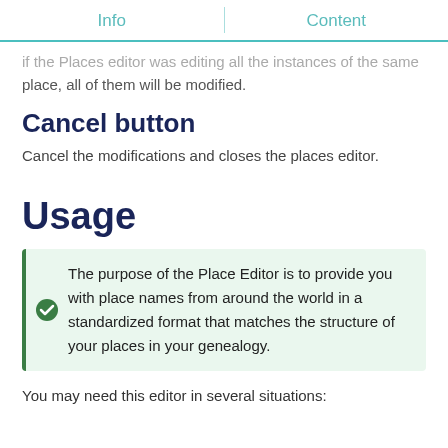Info | Content
if the Places editor was editing all the instances of the same place, all of them will be modified.
Cancel button
Cancel the modifications and closes the places editor.
Usage
The purpose of the Place Editor is to provide you with place names from around the world in a standardized format that matches the structure of your places in your genealogy.
You may need this editor in several situations: